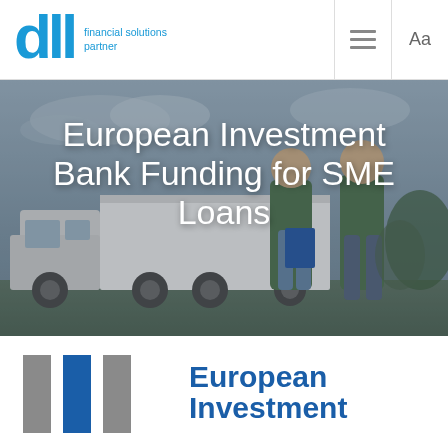[Figure (logo): DLL financial solutions partner logo in blue]
[Figure (photo): Two men in green jackets looking at a tablet/clipboard, standing in front of a large truck, with overcast sky background]
European Investment Bank Funding for SME Loans
[Figure (logo): European Investment Bank logo with grey and blue vertical bars]
European Investment